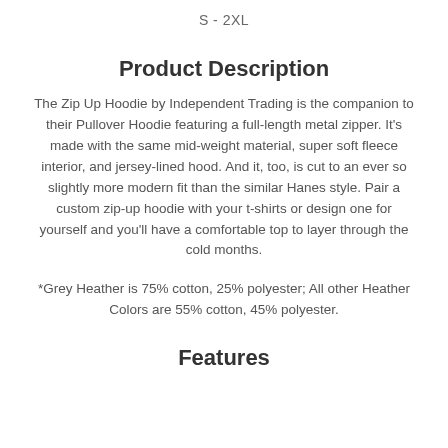S - 2XL
Product Description
The Zip Up Hoodie by Independent Trading is the companion to their Pullover Hoodie featuring a full-length metal zipper. It's made with the same mid-weight material, super soft fleece interior, and jersey-lined hood. And it, too, is cut to an ever so slightly more modern fit than the similar Hanes style. Pair a custom zip-up hoodie with your t-shirts or design one for yourself and you'll have a comfortable top to layer through the cold months.
*Grey Heather is 75% cotton, 25% polyester; All other Heather Colors are 55% cotton, 45% polyester.
Features